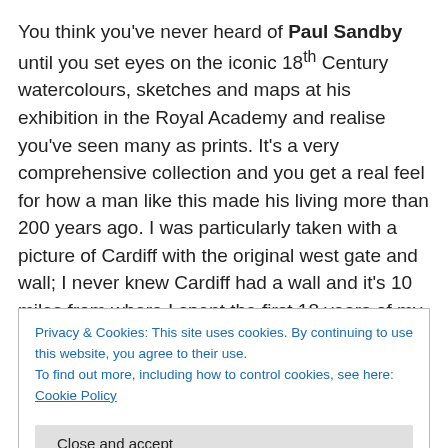You think you've never heard of Paul Sandby until you set eyes on the iconic 18th Century watercolours, sketches and maps at his exhibition in the Royal Academy and realise you've seen many as prints. It's a very comprehensive collection and you get a real feel for how a man like this made his living more than 200 years ago. I was particularly taken with a picture of Cardiff with the original west gate and wall; I never knew Cardiff had a wall and it's 10 miles from where I spent the first 18 years of my life!
Privacy & Cookies: This site uses cookies. By continuing to use this website, you agree to their use.
To find out more, including how to control cookies, see here: Cookie Policy
spaces or limits the portrait to less than the whole of his